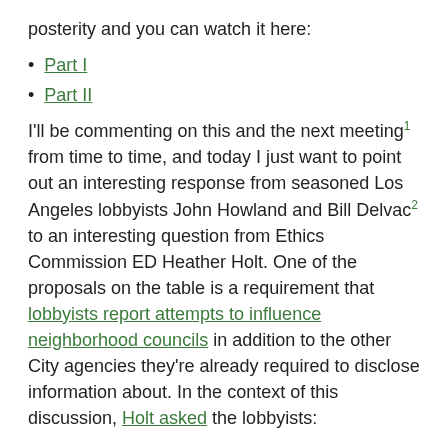posterity and you can watch it here:
Part I
Part II
I'll be commenting on this and the next meeting¹ from time to time, and today I just want to point out an interesting response from seasoned Los Angeles lobbyists John Howland and Bill Delvac² to an interesting question from Ethics Commission ED Heather Holt. One of the proposals on the table is a requirement that lobbyists report attempts to influence neighborhood councils in addition to the other City agencies they’re already required to disclose information about. In the context of this discussion, Holt asked the lobbyists:
Just out of curiosity, for development projects, is there a general sense that you need a neighborhood council buy-in for it to go anywhere?